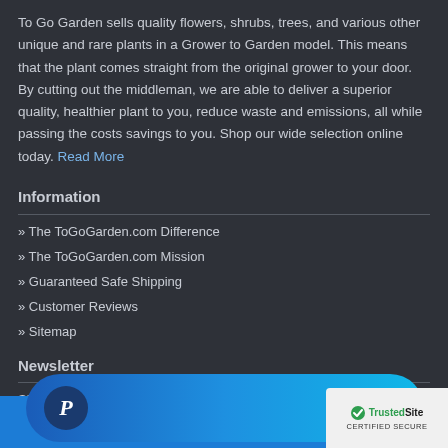To Go Garden sells quality flowers, shrubs, trees, and various other unique and rare plants in a Grower to Garden model. This means that the plant comes straight from the original grower to your door. By cutting out the middleman, we are able to deliver a superior quality, healthier plant to you, reduce waste and emissions, all while passing the costs savings to you. Shop our wide selection online today. Read More
Information
» The ToGoGarden.com Difference
» The ToGoGarden.com Mission
» Guaranteed Safe Shipping
» Customer Reviews
» Sitemap
Newsletter
Sign up for the latest deals, exclusive plants and gardening tips from the To...
[Figure (logo): PayPal button with blue gradient background and white P logo on dark blue circle]
[Figure (logo): TrustedSite CERTIFIED SECURE badge with green checkmark]